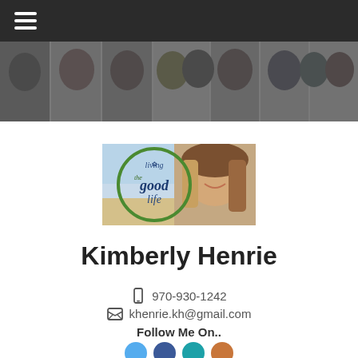[Figure (photo): Dark navigation bar with hamburger menu icon (three horizontal white lines) on the left]
[Figure (photo): Horizontal banner strip showing a group of professional headshot photos of multiple people side by side]
[Figure (photo): Living the Good Life podcast/show image: circular green logo with cursive text 'living the good life' on left side, woman with long brown hair smiling against a beach background on right]
Kimberly Henrie
970-930-1242
khenrie.kh@gmail.com
Follow Me On..
[Figure (photo): Row of social media icon circles (partially visible at bottom): light blue circle, dark blue circle, teal/blue circle, and an orange/brown circle]